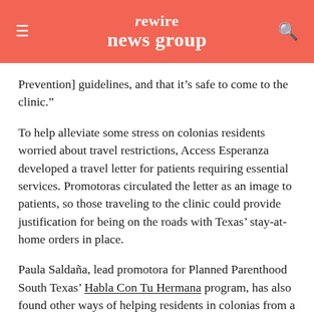rewire news group
Prevention] guidelines, and that it’s safe to come to the clinic.”
To help alleviate some stress on colonias residents worried about travel restrictions, Access Esperanza developed a travel letter for patients requiring essential services. Promotoras circulated the letter as an image to patients, so those traveling to the clinic could provide justification for being on the roads with Texas’ stay-at-home orders in place.
Paula Saldaña, lead promotora for Planned Parenthood South Texas’ Habla Con Tu Hermana program, has also found other ways of helping residents in colonias from a distance.